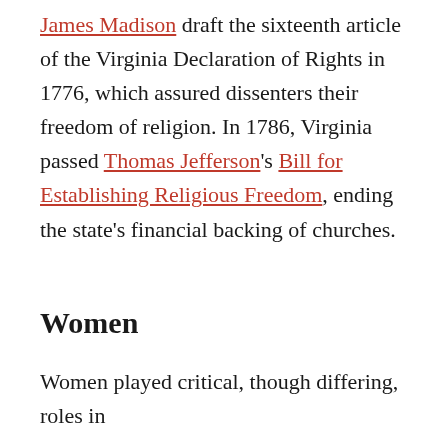James Madison draft the sixteenth article of the Virginia Declaration of Rights in 1776, which assured dissenters their freedom of religion. In 1786, Virginia passed Thomas Jefferson's Bill for Establishing Religious Freedom, ending the state's financial backing of churches.
Women
Women played critical, though differing, roles in